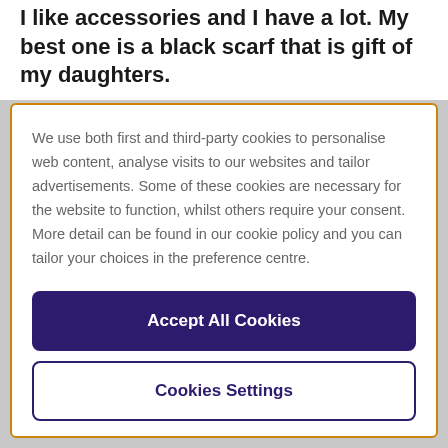I like accessories and I have a lot. My best one is a black scarf that is gift of my daughters.
We use both first and third-party cookies to personalise web content, analyse visits to our websites and tailor advertisements. Some of these cookies are necessary for the website to function, whilst others require your consent. More detail can be found in our cookie policy and you can tailor your choices in the preference centre.
Accept All Cookies
Cookies Settings